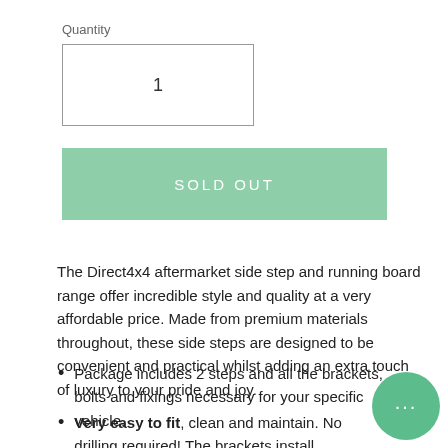Quantity
1
SOLD OUT
The Direct4x4 aftermarket side step and running board range offer incredible style and quality at a very affordable price. Made from premium materials throughout, these side steps are designed to be convenient and practical whilst adding an extra touch of luxury to your pride and joy.
Package includes 2 steps and all the brackets, bolts and fixings necessary for your specific vehicle.
Very easy to fit, clean and maintain. No drilling required! The brackets install conveniently to existing